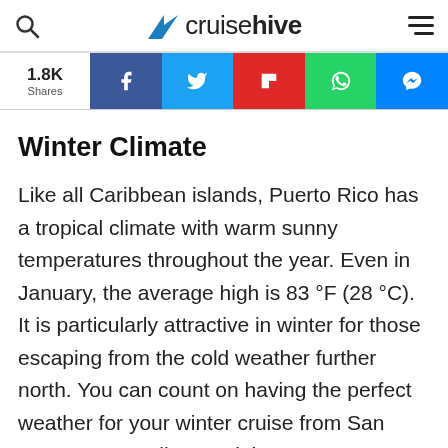cruisehive
[Figure (infographic): Social share bar showing 1.8K Shares with Facebook, Twitter, Flipboard, WhatsApp, and Messenger buttons]
Winter Climate
Like all Caribbean islands, Puerto Rico has a tropical climate with warm sunny temperatures throughout the year. Even in January, the average high is 83 °F (28 °C). It is particularly attractive in winter for those escaping from the cold weather further north. You can count on having the perfect weather for your winter cruise from San Juan as you sail around the neighboring Caribbean islands.